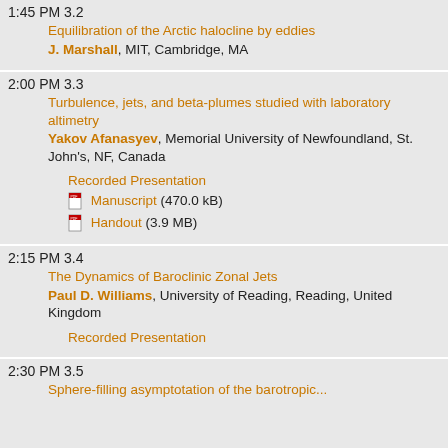1:45 PM 3.2 Equilibration of the Arctic halocline by eddies J. Marshall, MIT, Cambridge, MA
2:00 PM 3.3 Turbulence, jets, and beta-plumes studied with laboratory altimetry Yakov Afanasyev, Memorial University of Newfoundland, St. John's, NF, Canada
Recorded Presentation
Manuscript (470.0 kB)
Handout (3.9 MB)
2:15 PM 3.4 The Dynamics of Baroclinic Zonal Jets Paul D. Williams, University of Reading, Reading, United Kingdom
Recorded Presentation
2:30 PM 3.5 Sphere-filling asymptotation of the barotropic...